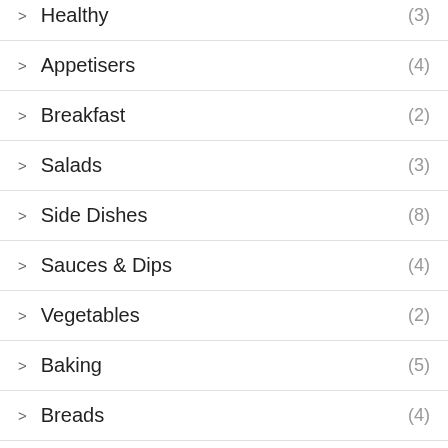Healthy (3)
Appetisers (4)
Breakfast (2)
Salads (3)
Side Dishes (8)
Sauces & Dips (4)
Vegetables (2)
Baking (5)
Breads (4)
Muffins (1)